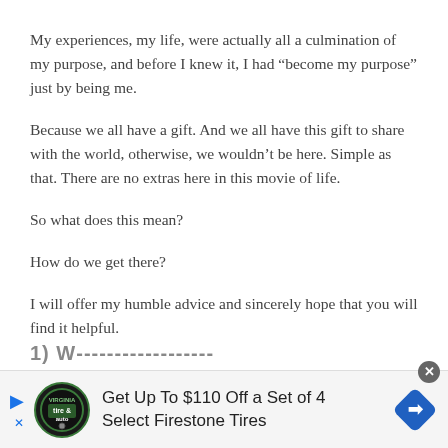My experiences, my life, were actually all a culmination of my purpose, and before I knew it, I had “become my purpose” just by being me.
Because we all have a gift. And we all have this gift to share with the world, otherwise, we wouldn’t be here. Simple as that. There are no extras here in this movie of life.
So what does this mean?
How do we get there?
I will offer my humble advice and sincerely hope that you will find it helpful.
[Figure (infographic): Advertisement banner at the bottom of the page. Shows a Firestone/Virginia Tire & Auto ad with circular logo, text reading 'Get Up To $110 Off a Set of 4 Select Firestone Tires', navigation arrow diamond icon, and close/play/X controls.]